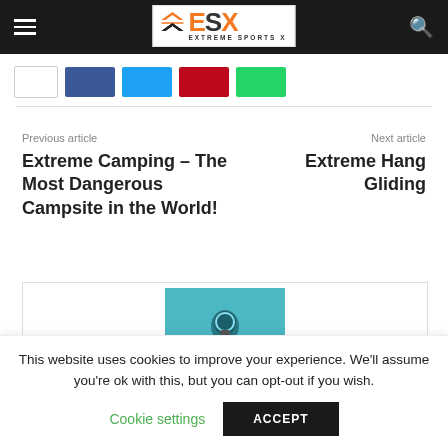Extreme Sports X — ESX
[Figure (screenshot): Social share buttons row: white, Facebook blue, Twitter cyan, Pinterest red, WhatsApp green]
Previous article
Extreme Camping – The Most Dangerous Campsite in the World!
Next article
Extreme Hang Gliding
[Figure (photo): A scuba diver underwater with arms raised, seen from below, against a teal/blue underwater background]
This website uses cookies to improve your experience. We'll assume you're ok with this, but you can opt-out if you wish.